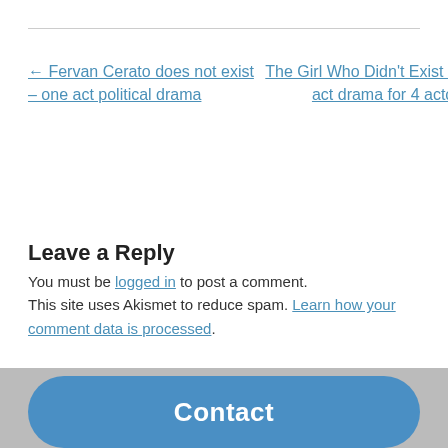← Fervan Cerato does not exist – one act political drama
The Girl Who Didn't Exist – one act drama for 4 actors →
Leave a Reply
You must be logged in to post a comment. This site uses Akismet to reduce spam. Learn how your comment data is processed.
Select Language
Powered by Google Translate
Contact